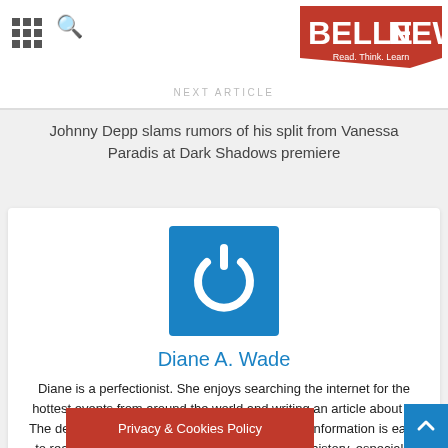BELLE NEWS
NEXT ARTICLE
Johnny Depp slams rumors of his split from Vanessa Paradis at Dark Shadows premiere
[Figure (logo): Blue square with white power button icon — author avatar for Diane A. Wade]
Diane A. Wade
Diane is a perfectionist. She enjoys searching the internet for the hottest events from around the world and writing an article about it. The details matter to her, so she makes sure the information is easy to read and understand. She likes traveling and history, especially ancient history. B… n she has a blast having barbe… ds.